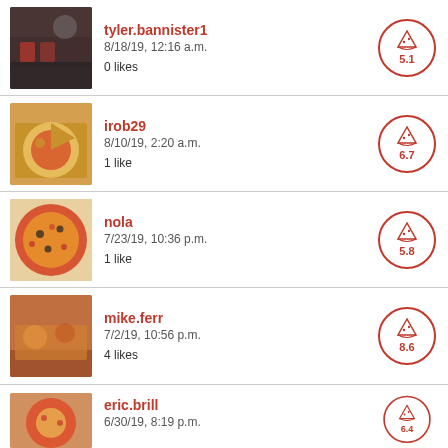[Figure (screenshot): Review item: tyler.bannister1, 8/18/19 12:16 a.m., 0 likes, score 5.1]
[Figure (screenshot): Review item: irob29, 8/10/19 2:20 a.m., 1 like, score 6.7]
[Figure (screenshot): Review item: nola, 7/23/19 10:36 p.m., 1 like, score 5.8]
[Figure (screenshot): Review item: mike.ferr, 7/2/19 10:56 p.m., 4 likes, score 8.6]
[Figure (screenshot): Review item: eric.brill, 6/30/19 8:19 p.m., score 6.4 (partially visible)]